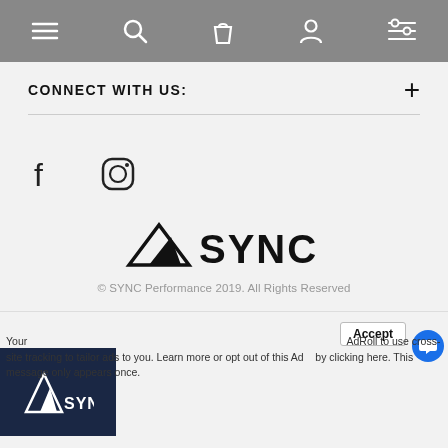Navigation bar with menu, search, bag, account, and filter icons
CONNECT WITH US:
[Figure (illustration): Facebook and Instagram social media icons]
[Figure (logo): SYNC Performance logo with mountain triangle icon]
© SYNC Performance 2019. All Rights Reserved
Your settings do not allow cross-site tracking for advertising. Click on this AdRoll to use cross-site tracking to tailor ads to you. Learn more or opt out of this Ad... by clicking here. This message only appears once.